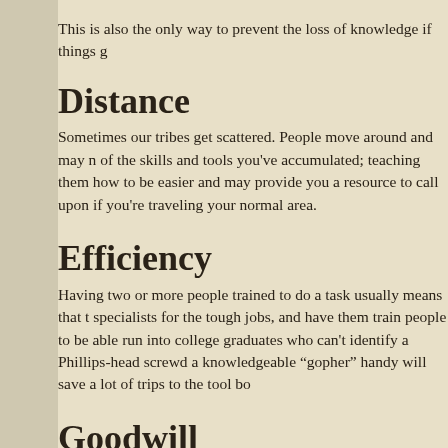This is also the only way to prevent the loss of knowledge if things g...
Distance
Sometimes our tribes get scattered. People move around and may n... of the skills and tools you've accumulated; teaching them how to be ... easier and may provide you a resource to call upon if you're traveling... your normal area.
Efficiency
Having two or more people trained to do a task usually means that t... specialists for the tough jobs, and have them train people to be able ... run into college graduates who can't identify a Phillips-head screwd... a knowledgeable "gopher" handy will save a lot of trips to the tool bo...
Goodwill
Think back to when you were in school: did you have good teachers... something? If you did, you will remember them for the rest of your li... excellent way to generate goodwill among groups, and can open do... have seen before. Mutual aid in time of crisis is based on goodwill a...